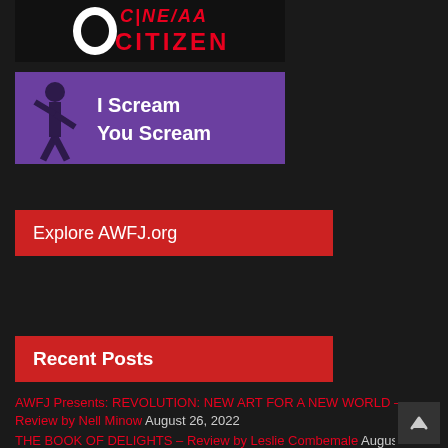[Figure (logo): Cinema Citizen logo with red stylized text on dark background]
[Figure (illustration): I Scream You Scream banner with purple background and silhouette figure with white bold text]
Explore AWFJ.org
[Figure (screenshot): Select Category dropdown UI element]
Recent Posts
AWFJ Presents: REVOLUTION: NEW ART FOR A NEW WORLD – Review by Nell Minow August 26, 2022
THE BOOK OF DELIGHTS – Review by Leslie Combemale August